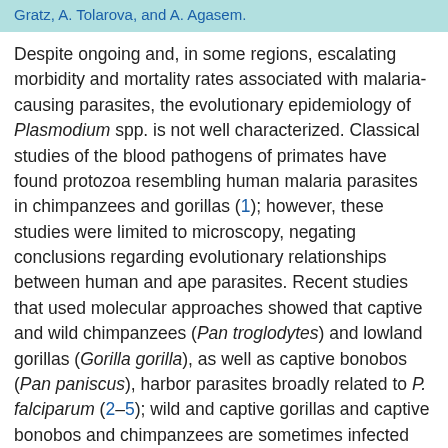Gratz, A. Tolarova, and A. Agasem.
Despite ongoing and, in some regions, escalating morbidity and mortality rates associated with malaria-causing parasites, the evolutionary epidemiology of Plasmodium spp. is not well characterized. Classical studies of the blood pathogens of primates have found protozoa resembling human malaria parasites in chimpanzees and gorillas (1); however, these studies were limited to microscopy, negating conclusions regarding evolutionary relationships between human and ape parasites. Recent studies that used molecular approaches showed that captive and wild chimpanzees (Pan troglodytes) and lowland gorillas (Gorilla gorilla), as well as captive bonobos (Pan paniscus), harbor parasites broadly related to P. falciparum (2–5); wild and captive gorillas and captive bonobos and chimpanzees are sometimes infected with P. falciparum itself (4–6). Further, captive